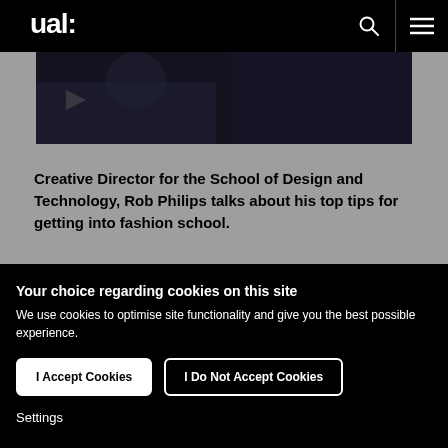ual:
[Figure (screenshot): Dark background video thumbnail showing a person in low-light environment, partially visible.]
Creative Director for the School of Design and Technology, Rob Philips talks about his top tips for getting into fashion school.
Your choice regarding cookies on this site
We use cookies to optimise site functionality and give you the best possible experience.
I Accept Cookies
I Do Not Accept Cookies
Settings